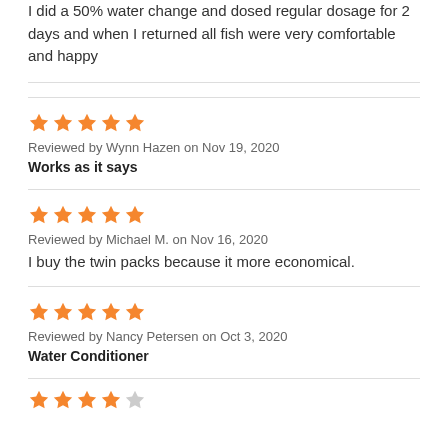I did a 50% water change and dosed regular dosage for 2 days and when I returned all fish were very comfortable and happy
[Figure (other): 5 orange filled stars rating]
Reviewed by Wynn Hazen on Nov 19, 2020
Works as it says
[Figure (other): 5 orange filled stars rating]
Reviewed by Michael M. on Nov 16, 2020
I buy the twin packs because it more economical.
[Figure (other): 5 orange filled stars rating]
Reviewed by Nancy Petersen on Oct 3, 2020
Water Conditioner
[Figure (other): 4 orange filled stars and 1 empty star rating]